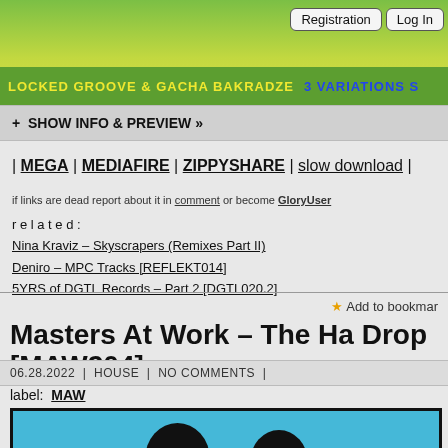[Figure (screenshot): Website top banner with green/yellow gradient. Text: 'LOCKED GROOVE & GACHA BAKRADZE' in yellow, '3 VARIATIONS S...' in blue. Registration and Log In buttons in top right.]
+ SHOW INFO & PREVIEW »
| MEGA | MEDIAFIRE | ZIPPYSHARE | slow download |
if links are dead report about it in comment or become GloryUser
related:
Nina Kraviz – Skyscrapers (Remixes Part II)
Deniro – MPC Tracks [REFLEKT014]
5YRS of DGTL Records – Part 2 [DGTL020.2]
Add to bookmark
Masters At Work – The Ha Drop [MAW204]
06.28.2022 | HOUSE | NO COMMENTS |
label: MAW
[Figure (illustration): Album art with black border, cyan/blue background, two black silhouettes of people visible at bottom]